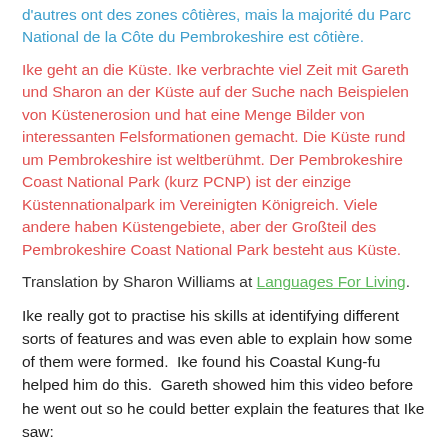d'autres ont des zones côtières, mais la majorité du Parc National de la Côte du Pembrokeshire est côtière.
Ike geht an die Küste. Ike verbrachte viel Zeit mit Gareth und Sharon an der Küste auf der Suche nach Beispielen von Küstenerosion und hat eine Menge Bilder von interessanten Felsformationen gemacht. Die Küste rund um Pembrokeshire ist weltberühmt. Der Pembrokeshire Coast National Park (kurz PCNP) ist der einzige Küstennationalpark im Vereinigten Königreich. Viele andere haben Küstengebiete, aber der Großteil des Pembrokeshire Coast National Park besteht aus Küste.
Translation by Sharon Williams at Languages For Living.
Ike really got to practise his skills at identifying different sorts of features and was even able to explain how some of them were formed.  Ike found his Coastal Kung-fu helped him do this.  Gareth showed him this video before he went out so he could better explain the features that Ike saw:
[Figure (photo): Dark background image showing what appears to be a coastal scene with red and blue colored figures/elements visible at the bottom left.]